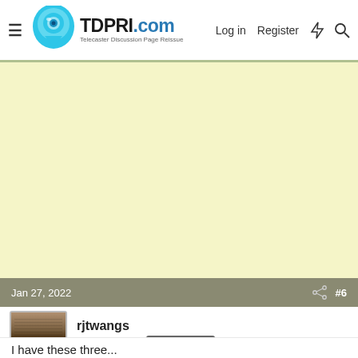TDPRI.com — Telecaster Discussion Page Reissue | Log in | Register
[Figure (other): Advertisement area with light yellow background]
Jan 27, 2022  #6
rjtwangs
Friend of Leo's  Silver Supporter
I have these three...